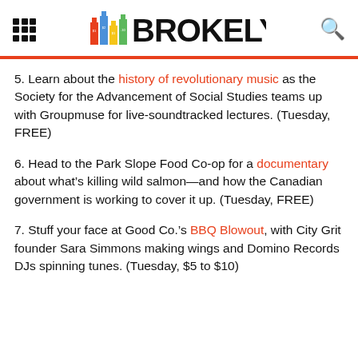BROKELYN
5. Learn about the history of revolutionary music as the Society for the Advancement of Social Studies teams up with Groupmuse for live-soundtracked lectures. (Tuesday, FREE)
6. Head to the Park Slope Food Co-op for a documentary about what’s killing wild salmon—and how the Canadian government is working to cover it up. (Tuesday, FREE)
7. Stuff your face at Good Co.’s BBQ Blowout, with City Grit founder Sara Simmons making wings and Domino Records DJs spinning tunes. (Tuesday, $5 to $10)